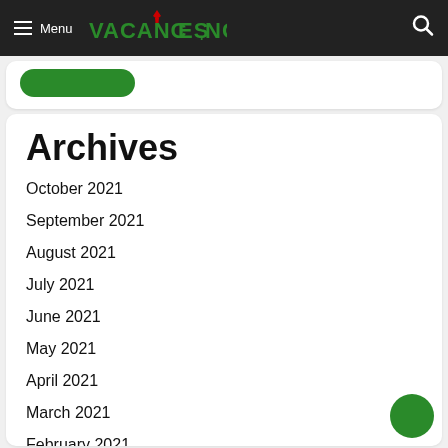Menu | VACANCIES.NG
[Figure (screenshot): Partial green button from previous card]
Archives
October 2021
September 2021
August 2021
July 2021
June 2021
May 2021
April 2021
March 2021
February 2021